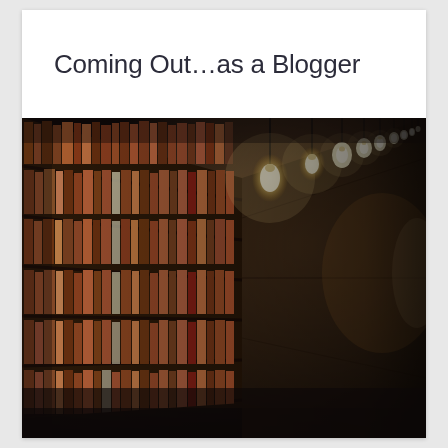Coming Out…as a Blogger
[Figure (photo): A long library corridor with tall wooden bookshelves filled with books on both sides, and a row of hanging Edison-style bare bulbs illuminating the hallway, creating a warm bokeh effect in the background.]